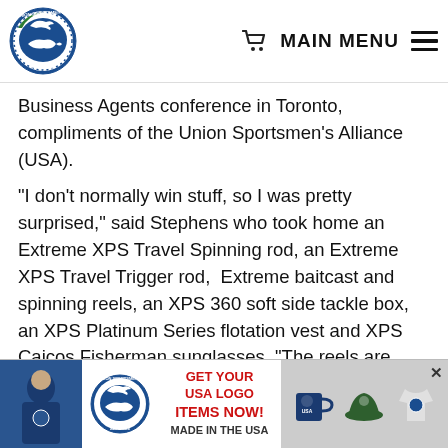[Figure (logo): Union Sportsmen's Alliance circular logo with bird and fish in blue and green]
MAIN MENU
Business Agents conference in Toronto, compliments of the Union Sportsmen’s Alliance (USA).
“I don’t normally win stuff, so I was pretty surprised,” said Stephens who took home an Extreme XPS Travel Spinning rod, an Extreme XPS Travel Trigger rod,  Extreme baitcast and spinning reels, an XPS 360 soft side tackle box, an XPS Platinum Series flotation vest and XPS Caicos Fisherman sunglasses. “The reels are very nice...the poles are great too. I already had them out in the backyard to practice casting a bit.”
[Figure (infographic): Banner advertisement: GET YOUR USA LOGO ITEMS NOW! MADE IN THE USA with Union Sportsmen's Alliance logo, mug, hat, and shirt products]